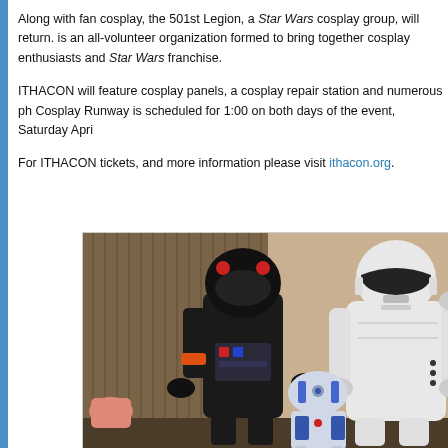Along with fan cosplay, the 501st Legion, a Star Wars cosplay group, will return. It is an all-volunteer organization formed to bring together cosplay enthusiasts and Star Wars franchise.
ITHACON will feature cosplay panels, a cosplay repair station and numerous photo opportunities. Cosplay Runway is scheduled for 1:00 on both days of the event, Saturday April...
For ITHACON tickets, and more information please visit ithacon.org.
[Figure (photo): Photo of Star Wars cosplayers including a TIE fighter pilot in black armor, a Stormtrooper in white armor, R2-D2 robot, and a person in a pink/salmon hoodie, standing in front of a wooden panel wall.]